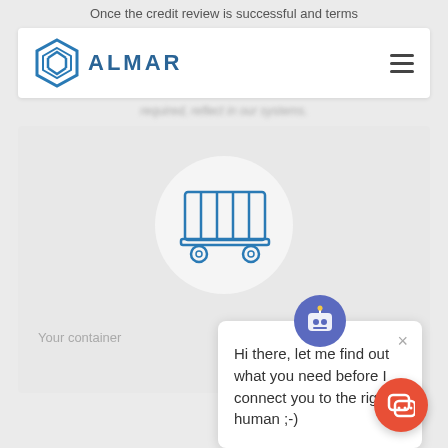Once the credit review is successful and terms
[Figure (screenshot): Almar website navigation bar with hexagon logo and ALMAR text, hamburger menu icon on right]
required, reflect in our systems.
[Figure (illustration): Circular icon with a shipping container/rail wagon illustration in blue outline style]
Your container
[Figure (screenshot): Chat popup with robot avatar saying: Hi there, let me find out what you need before I connect you to the right human ;-)]
[Figure (illustration): Red circular chat button with conversation bubble icon at bottom right]